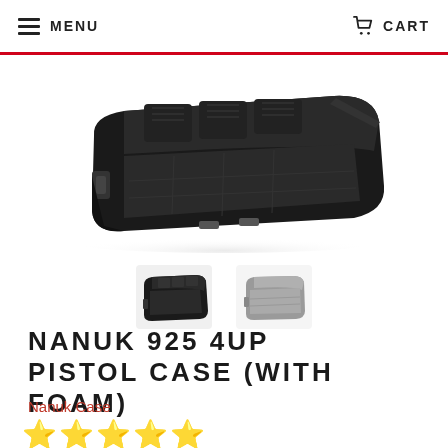MENU   CART
[Figure (photo): Open black hard-shell pistol case with foam inserts holding multiple pistols, viewed from above at an angle]
[Figure (photo): Two thumbnail images of the Nanuk 925 case: one showing the case open with foam inserts, one showing the case open empty]
NANUK 925 4UP PISTOL CASE (WITH FOAM)
Nanuk Case
[Figure (infographic): Five gold star rating icons]